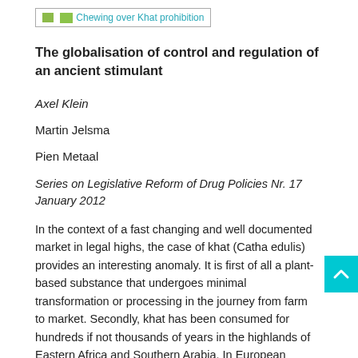[Figure (illustration): Broken image placeholder with link text 'Chewing over Khat prohibition']
The globalisation of control and regulation of an ancient stimulant
Axel Klein
Martin Jelsma
Pien Metaal
Series on Legislative Reform of Drug Policies Nr. 17
January 2012
In the context of a fast changing and well documented market in legal highs, the case of khat (Catha edulis) provides an interesting anomaly. It is first of all a plant-based substance that undergoes minimal transformation or processing in the journey from farm to market. Secondly, khat has been consumed for hundreds if not thousands of years in the highlands of Eastern Africa and Southern Arabia. In European countries, khat use was first